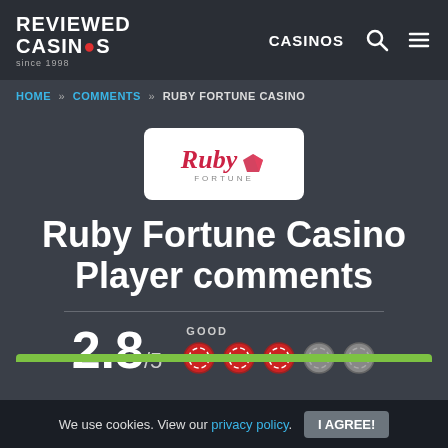Reviewed Casinos since 1998 | CASINOS
HOME » COMMENTS » RUBY FORTUNE CASINO
[Figure (logo): Ruby Fortune casino logo on white card background]
Ruby Fortune Casino Player comments
GOOD 2.8/5 (3.5 chips out of 5 shown as red poker chip icons)
We use cookies. View our privacy policy. I AGREE!